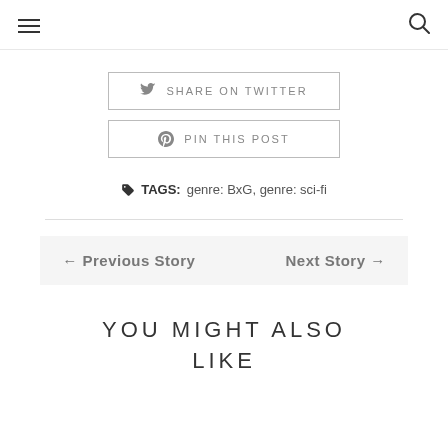☰  🔍
SHARE ON TWITTER
PIN THIS POST
TAGS: genre: BxG, genre: sci-fi
← Previous Story   Next Story →
YOU MIGHT ALSO LIKE